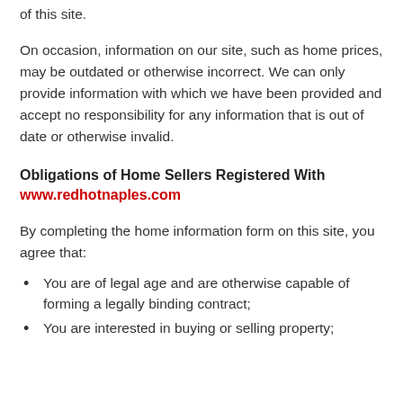of this site.
On occasion, information on our site, such as home prices, may be outdated or otherwise incorrect. We can only provide information with which we have been provided and accept no responsibility for any information that is out of date or otherwise invalid.
Obligations of Home Sellers Registered With www.redhotnaples.com
By completing the home information form on this site, you agree that:
You are of legal age and are otherwise capable of forming a legally binding contract;
You are interested in buying or selling property;